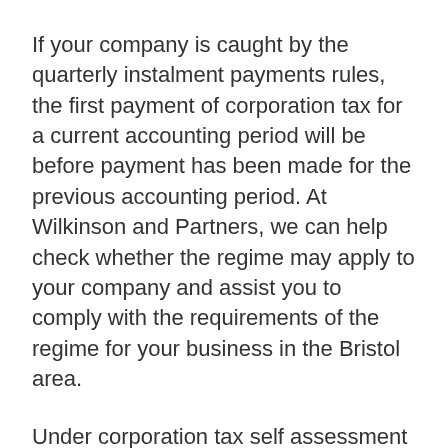If your company is caught by the quarterly instalment payments rules, the first payment of corporation tax for a current accounting period will be before payment has been made for the previous accounting period. At Wilkinson and Partners, we can help check whether the regime may apply to your company and assist you to comply with the requirements of the regime for your business in the Bristol area.
Under corporation tax self assessment large companies